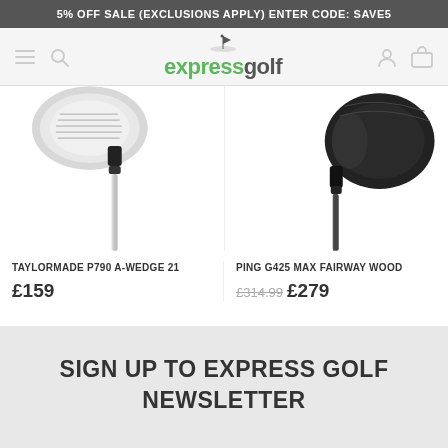5% OFF SALE (EXCLUSIONS APPLY) ENTER CODE: SAVE5
[Figure (logo): Express Golf logo with hamburger menu, search icon, user icon, and basket icon in navigation bar]
[Figure (photo): TaylorMade P790 A-Wedge 21 golf club - close up of club head and shaft, chrome/silver finish]
[Figure (photo): Ping G425 Max Fairway Wood golf club - close up of club head and shaft, black finish]
TAYLORMADE P790 A-WEDGE 21
£159
PING G425 MAX FAIRWAY WOOD
£314.99 £279
SIGN UP TO EXPRESS GOLF NEWSLETTER